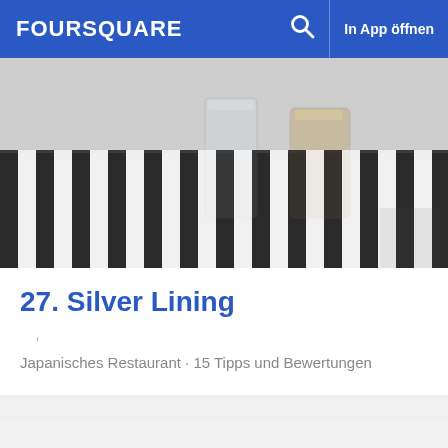FOURSQUARE  In App öffnen
[Figure (photo): Photo of a striped black and white tablecloth with glasses on it, top portion visible]
27. Silver Lining
Japanisches Restaurant · 15 Tipps und Bewertungen
[Figure (photo): Photo showing a pink smoothie drink in a plastic cup with a straw in front of a white wall with large black letters reading BARK AND BREWED]